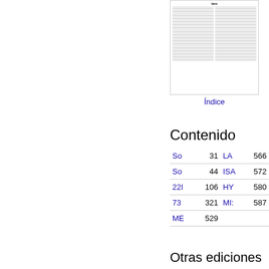[Figure (screenshot): Thumbnail image of an index (Índice) page from a book, showing two columns of small text entries.]
Índice
Contenido
| Name | Page | Name | Page |
| --- | --- | --- | --- |
| So | 31 | LA | 566 |
| So | 44 | ISA | 572 |
| 22I | 106 | HY | 580 |
| 73 | 321 | MI: | 587 |
| ME | 529 |  |  |
Otras ediciones